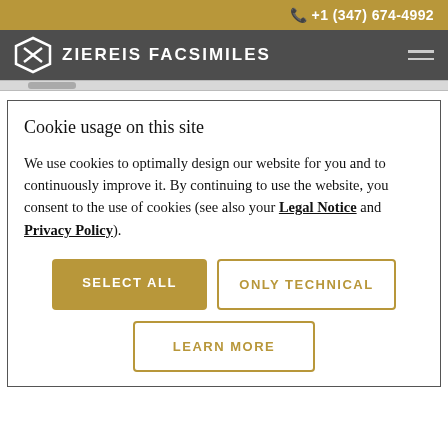+1 (347) 674-4992
ZIEREIS FACSIMILES
Cookie usage on this site
We use cookies to optimally design our website for you and to continuously improve it. By continuing to use the website, you consent to the use of cookies (see also your Legal Notice and Privacy Policy).
SELECT ALL
ONLY TECHNICAL
LEARN MORE